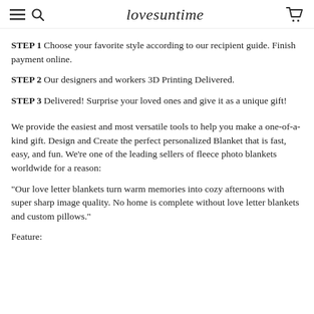lovesuntime
STEP 1 Choose your favorite style according to our recipient guide. Finish payment online.
STEP 2 Our designers and workers 3D Printing Delivered.
STEP 3 Delivered! Surprise your loved ones and give it as a unique gift!
We provide the easiest and most versatile tools to help you make a one-of-a-kind gift. Design and Create the perfect personalized Blanket that is fast, easy, and fun. We're one of the leading sellers of fleece photo blankets worldwide for a reason:
"Our love letter blankets turn warm memories into cozy afternoons with super sharp image quality. No home is complete without love letter blankets and custom pillows."
Feature: